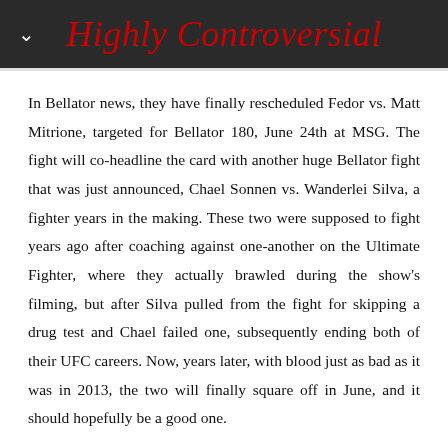Highly Controversial
In Bellator news, they have finally rescheduled Fedor vs. Matt Mitrione, targeted for Bellator 180, June 24th at MSG. The fight will co-headline the card with another huge Bellator fight that was just announced, Chael Sonnen vs. Wanderlei Silva, a fighter years in the making. These two were supposed to fight years ago after coaching against one-another on the Ultimate Fighter, where they actually brawled during the show's filming, but after Silva pulled from the fight for skipping a drug test and Chael failed one, subsequently ending both of their UFC careers. Now, years later, with blood just as bad as it was in 2013, the two will finally square off in June, and it should hopefully be a good one.